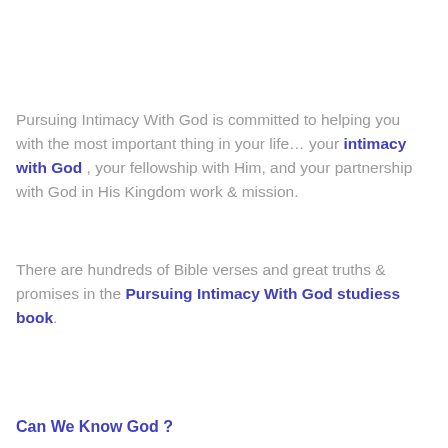Pursuing Intimacy With God is committed to helping you with the most important thing in your life… your intimacy with God , your fellowship with Him, and your partnership with God in His Kingdom work & mission.
There are hundreds of Bible verses and great truths & promises in the Pursuing Intimacy With God studiess book.
Can We Know God ?